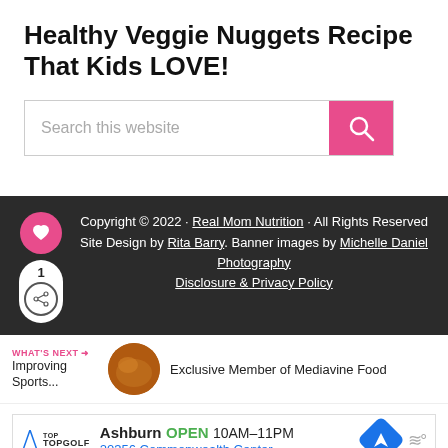Healthy Veggie Nuggets Recipe That Kids LOVE!
[Figure (screenshot): Search bar with pink search button and magnifying glass icon. Placeholder text: 'Search this website']
Copyright © 2022 · Real Mom Nutrition · All Rights Reserved
Site Design by Rita Barry. Banner images by Michelle Daniel Photography
Disclosure & Privacy Policy
[Figure (infographic): Heart icon in pink circle (social like), share count pill showing '1' and share icon]
WHAT'S NEXT → Improving Sports...
[Figure (photo): Circular thumbnail image of food (orange/brown colored food)]
Exclusive Member of Mediavine Food
[Figure (screenshot): Ad banner: TopGolf logo, Ashburn OPEN 10AM–11PM, 20356 Commonwealth Center..., navigation arrow icon and wave icon]